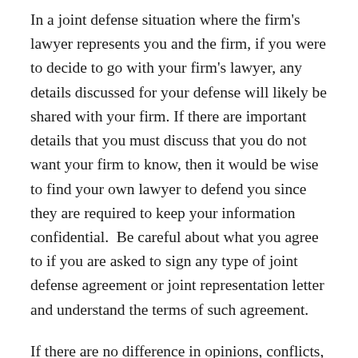In a joint defense situation where the firm's lawyer represents you and the firm, if you were to decide to go with your firm's lawyer, any details discussed for your defense will likely be shared with your firm. If there are important details that you must discuss that you do not want your firm to know, then it would be wise to find your own lawyer to defend you since they are required to keep your information confidential.  Be careful about what you agree to if you are asked to sign any type of joint defense agreement or joint representation letter and understand the terms of such agreement.
If there are no difference in opinions, conflicts, or confusion on certain details, then you could ideally consider your firm's lawyer. And, it may make sense in several situations. On the other hand, if you were to hire your own counsel, you'll know that you are getting